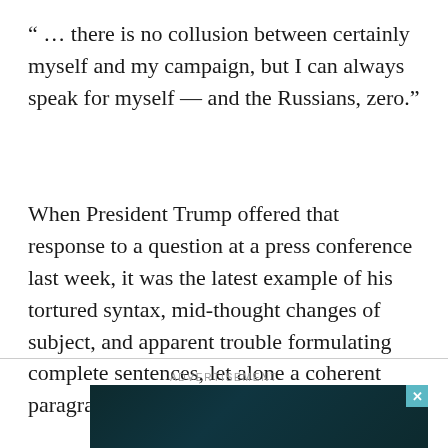“ … there is no collusion between certainly myself and my campaign, but I can always speak for myself — and the Russians, zero.”
When President Trump offered that response to a question at a press conference last week, it was the latest example of his tortured syntax, mid-thought changes of subject, and apparent trouble formulating complete sentences, let alone a coherent paragraph, in unscripted speech.
ADVERTISEMENT
[Figure (screenshot): Dark teal/dark blue advertisement image with close button]